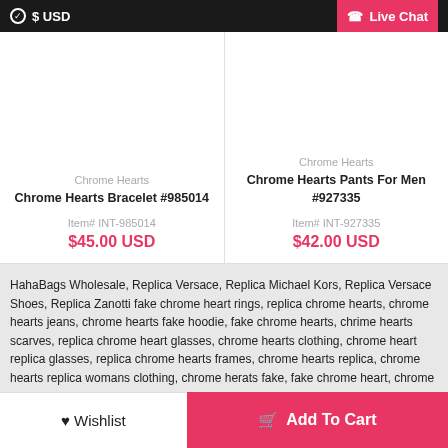$ USD | Live Chat
Chrome Hearts
Chrome Hearts Bracelet #985014
Item# INT-985014
$45.00 USD
Chrome Hearts
Chrome Hearts Pants For Men #927335
Item# INT-927335
$42.00 USD
HahaBags Wholesale, Replica Versace, Replica Michael Kors, Replica Versace Shoes, Replica Zanotti fake chrome heart rings, replica chrome hearts, chrome hearts jeans, chrome hearts fake hoodie, fake chrome hearts, chrime hearts scarves, replica chrome heart glasses, chrome hearts clothing, chrome heart replica glasses, replica chrome hearts frames, chrome hearts replica, chrome hearts replica womans clothing, chrome herats fake, fake chrome heart, chrome hearts replica shirt
Contact Us
Send Payment Information
How To Select Size?
Shipping Guide
Return & Exchange
Wholesale & Discount
Customized Solutions
Wishlist
Add To Cart